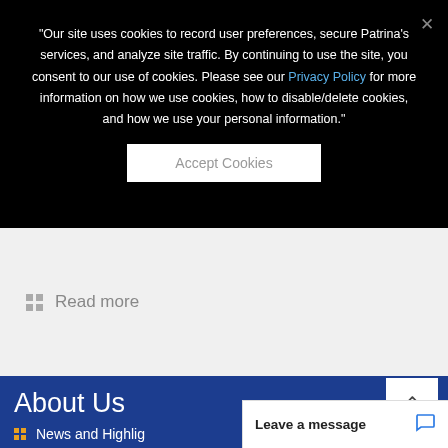"Our site uses cookies to record user preferences, secure Patrina's services, and analyze site traffic. By continuing to use the site, you consent to our use of cookies. Please see our Privacy Policy for more information on how we use cookies, how to disable/delete cookies, and how we use your personal information."
Accept Cookies
Read more
About Us
News and Highlights
Leave a message